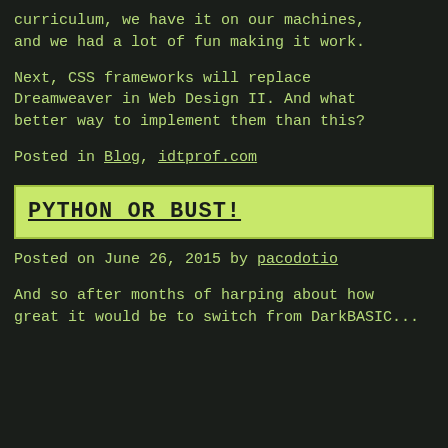curriculum, we have it on our machines, and we had a lot of fun making it work.
Next, CSS frameworks will replace Dreamweaver in Web Design II. And what better way to implement them than this?
Posted in Blog, idtprof.com
PYTHON OR BUST!
Posted on June 26, 2015 by pacodotio
And so after months of harping about how great it would be to switch from DarkBASIC...